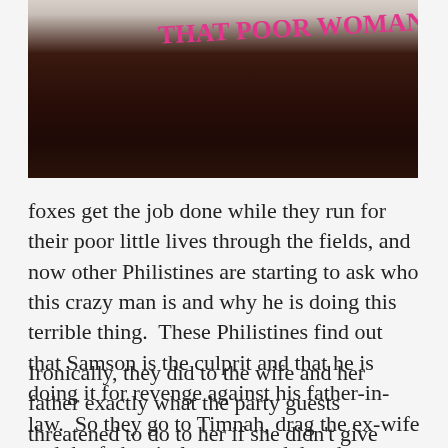[Figure (photo): Photo showing handwritten text 'THAT POOR WOMAN!' in pink/red marker on a light background, with dark wooden surface below]
foxes get the job done while they run for their poor little lives through the fields, and now other Philistines are starting to ask who this crazy man is and why he is doing this terrible thing.  These Philistines find out that Samson is the culprit and that he is doing it for revenge against his father-in-law.  So they go to Timnah, drag the ex-wife and the father-in-law out, and then burn them to death.
Ironically, they did to the wife and her father exactly what the party guests threatened to do to her if she didn't give them the answer to Samson's riddle from the wedding.  That is just some really thick tragedy.